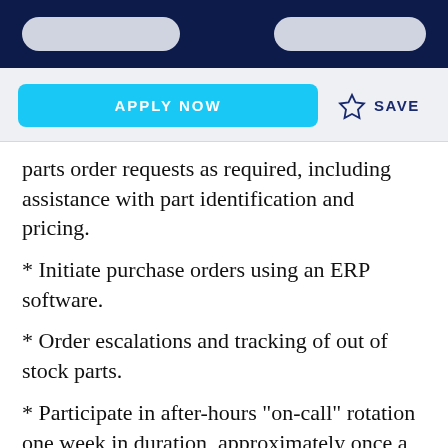[navigation bar with two pill buttons on dark background]
parts order requests as required, including assistance with part identification and pricing.
* Initiate purchase orders using an ERP software.
* Order escalations and tracking of out of stock parts.
* Participate in after-hours "on-call" rotation one week in duration, approximately once a month.